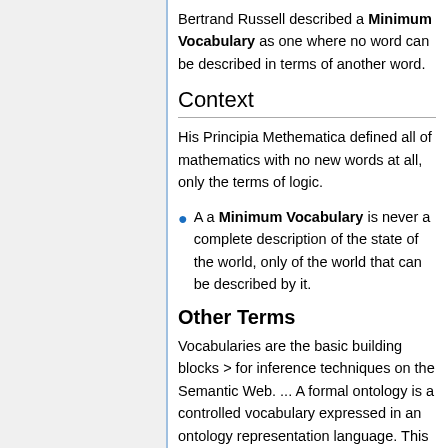Bertrand Russell described a Minimum Vocabulary as one where no word can be described in terms of another word.
Context
His Principia Methematica defined all of mathematics with no new words at all, only the terms of logic.
A a Minimum Vocabulary is never a complete description of the state of the world, only of the world that can be described by it.
Other Terms
Vocabularies are the basic building blocks > for inference techniques on the Semantic Web. ... A formal ontology is a controlled vocabulary expressed in an ontology representation language. This